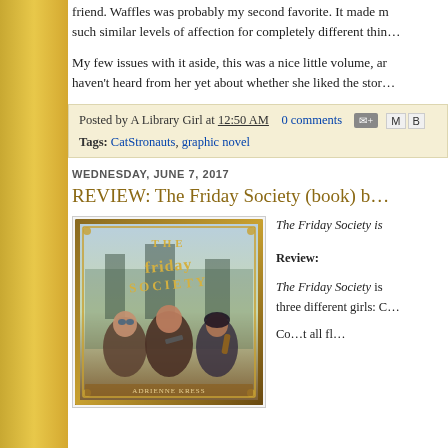friend. Waffles was probably my second favorite. It made me think about how we can feel such similar levels of affection for completely different thin...
My few issues with it aside, this was a nice little volume, an... haven't heard from her yet about whether she liked the story...
Posted by A Library Girl at 12:50 AM   0 comments
Tags: CatStronauts, graphic novel
WEDNESDAY, JUNE 7, 2017
REVIEW: The Friday Society (book) b...
[Figure (photo): Book cover of The Friday Society showing three young women in steampunk/action style]
The Friday Society is...
Review:
The Friday Society is... three different girls: C...
Co...t all fl...